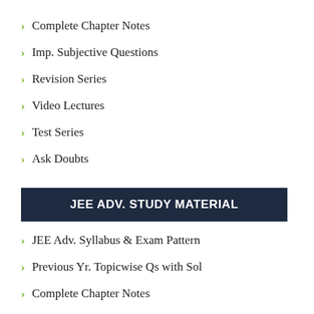Complete Chapter Notes
Imp. Subjective Questions
Revision Series
Video Lectures
Test Series
Ask Doubts
JEE ADV. STUDY MATERIAL
JEE Adv. Syllabus & Exam Pattern
Previous Yr. Topicwise Qs with Sol
Complete Chapter Notes